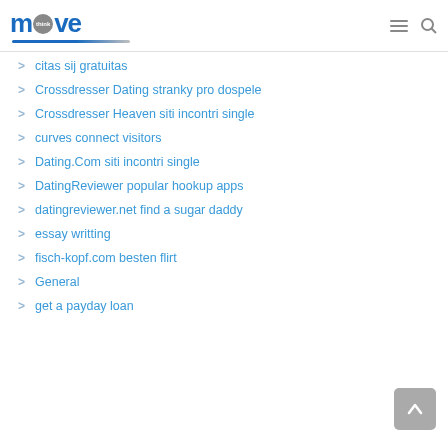move think — navigation header
citas sij gratuitas
Crossdresser Dating stranky pro dospele
Crossdresser Heaven siti incontri single
curves connect visitors
Dating.Com siti incontri single
DatingReviewer popular hookup apps
datingreviewer.net find a sugar daddy
essay writting
fisch-kopf.com besten flirt
General
get a payday loan